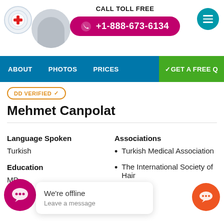CALL TOLL FREE +1-888-673-6134
ABOUT  PHOTOS  PRICES  GET A FREE Q
DD VERIFIED
Mehmet Canpolat
Language Spoken
Turkish
Education
MD
Associations
Turkish Medical Association
The International Society of Hair
We're offline
Leave a message